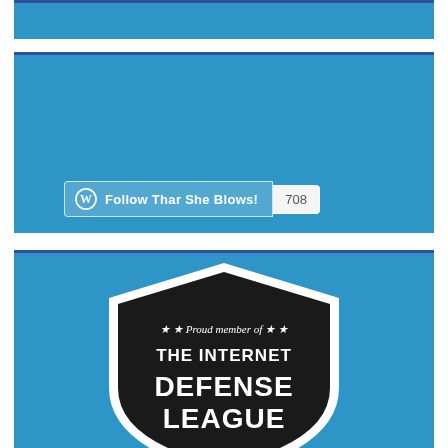[Figure (other): Blue header banner block]
[Figure (other): WordPress Follow button widget showing 'Follow Thar She Blows!' with follower count 708, on blue background]
[Figure (other): Internet Defense League badge on blue background. Black shield shape with white border. Text: '* * Proud member of * *' and 'THE INTERNET DEFENSE LEAGUE' in large white bold letters.]